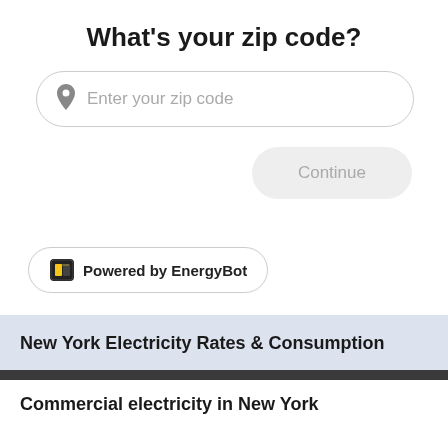What's your zip code?
Enter your zip code
Continue
Powered by EnergyBot
New York Electricity Rates & Consumption
Commercial electricity in New York